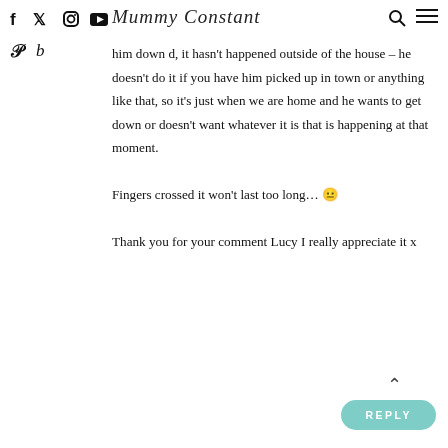Mummy Constant [blog navigation header with social icons]
him down d, it hasn't happened outside of the house – he doesn't do it if you have him picked up in town or anything like that, so it's just when we are home and he wants to get down or doesn't want whatever it is that is happening at that moment.

Fingers crossed it won't last too long… 😐

Thank you for your comment Lucy I really appreciate it x